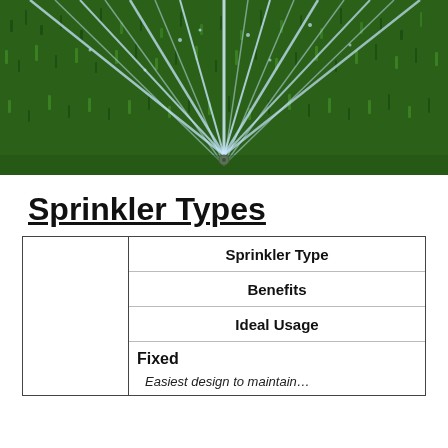[Figure (photo): Aerial view of sprinkler irrigation system spraying water over green grass lawn, multiple water streams radiating from center sprinkler heads]
Sprinkler Types
|  | Sprinkler Type | Benefits | Ideal Usage |
| --- | --- | --- | --- |
| Fixed |  |  |  |